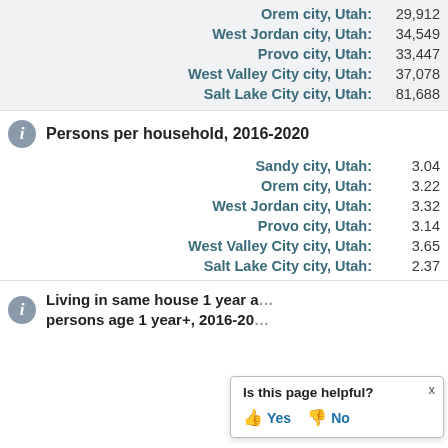| Place | Value |
| --- | --- |
| Orem city, Utah: | 29,912 |
| West Jordan city, Utah: | 34,549 |
| Provo city, Utah: | 33,447 |
| West Valley City city, Utah: | 37,078 |
| Salt Lake City city, Utah: | 81,688 |
Persons per household, 2016-2020
| Place | Value |
| --- | --- |
| Sandy city, Utah: | 3.04 |
| Orem city, Utah: | 3.22 |
| West Jordan city, Utah: | 3.32 |
| Provo city, Utah: | 3.14 |
| West Valley City city, Utah: | 3.65 |
| Salt Lake City city, Utah: | 2.37 |
Living in same house 1 year ago, percent of persons age 1 year+, 2016-2020